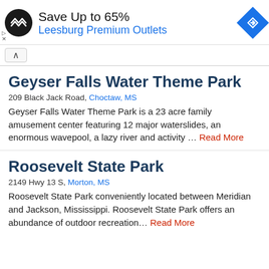[Figure (other): Advertisement banner for Leesburg Premium Outlets showing a logo, Save Up to 65% text, outlet name in blue, and a blue navigation diamond icon]
^ (collapse button)
Geyser Falls Water Theme Park
209 Black Jack Road, Choctaw, MS
Geyser Falls Water Theme Park is a 23 acre family amusement center featuring 12 major waterslides, an enormous wavepool, a lazy river and activity … Read More
Roosevelt State Park
2149 Hwy 13 S, Morton, MS
Roosevelt State Park conveniently located between Meridian and Jackson, Mississippi. Roosevelt State Park offers an abundance of outdoor recreation… Read More